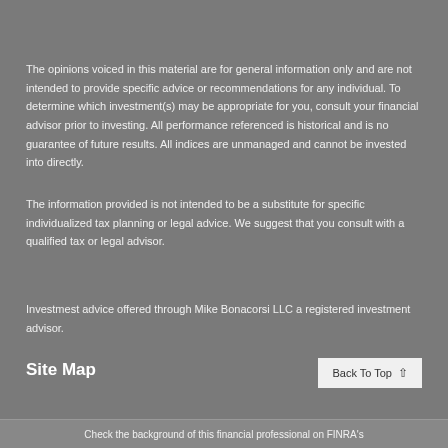The opinions voiced in this material are for general information only and are not intended to provide specific advice or recommendations for any individual. To determine which investment(s) may be appropriate for you, consult your financial advisor prior to investing. All performance referenced is historical and is no guarantee of future results. All indices are unmanaged and cannot be invested into directly.
The information provided is not intended to be a substitute for specific individualized tax planning or legal advice. We suggest that you consult with a qualified tax or legal advisor.
Investmest advice offered through Mike Bonacorsi LLC a registered investment advisor.
Site Map
Check the background of this financial professional on FINRA's